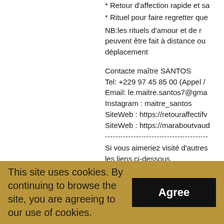* Retour d'affection rapide et sa...
* Rituel pour faire regretter que...
NB:les rituels d'amour et de r... peuvent être fait à distance ou déplacement
Contacte maître SANTOS
Tel: +229 97 45 85 00 (Appel /...
Email: le.maitre.santos7@gma...
Instagram : maitre_santos
SiteWeb : https://retouraffectifv...
SiteWeb : https://maraboutvaud...
--------------------------------------------
Si vous aimeriez visité d'autres... les liens ci-dessous
SiteWeb : https://retouraffectifv...
SiteWeb : https://retouraffectifv...
SiteWeb : https://retour-affectif-...
SiteWeb : https://richesse-rapid...
This site uses cookies. By continuing to browse the site, you are agreeing to our use of cookies.